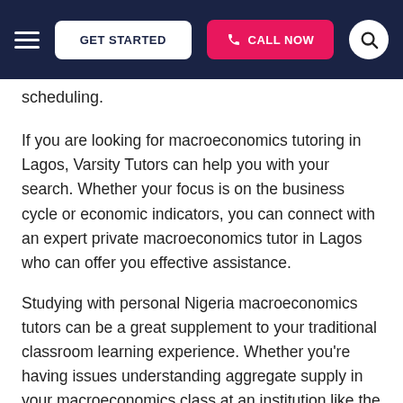GET STARTED | CALL NOW
scheduling.
If you are looking for macroeconomics tutoring in Lagos, Varsity Tutors can help you with your search. Whether your focus is on the business cycle or economic indicators, you can connect with an expert private macroeconomics tutor in Lagos who can offer you effective assistance.
Studying with personal Nigeria macroeconomics tutors can be a great supplement to your traditional classroom learning experience. Whether you're having issues understanding aggregate supply in your macroeconomics class at an institution like the University of Lagos or you just want to learn more about real interest rates, you can find a personal